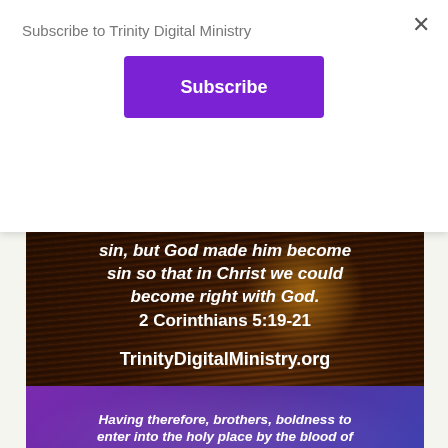Subscribe to Trinity Digital Ministry
×
Subscribe
[Figure (photo): Dark wood/coal background with white bold italic text overlay reading: '...sin, but God made him become sin so that in Christ we could become right with God. 2 Corinthians 5:19-21' and 'TrinityDigitalMinistry.org'. Below is a blue bar with 'Load More...' and 'Follow on Instagram' buttons.]
Load More...
Follow on Instagram
[Figure (photo): Purple/blue background with white bold italic text: 'Having therefore, brothers, boldness to enter into the holy place by the blood of']